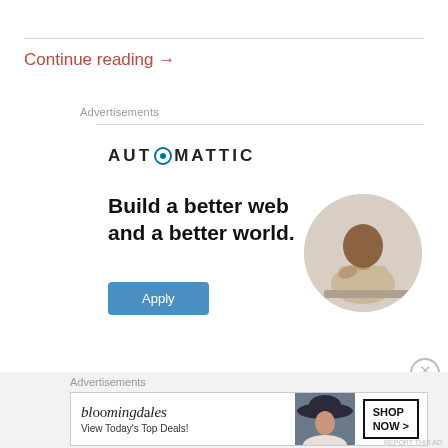Continue reading →
Advertisements
[Figure (logo): Automattic logo with circular O icon and text AUTOMATTIC]
[Figure (infographic): Automattic job ad: 'Build a better web and a better world.' with Apply button and photo of person thinking]
Advertisements
[Figure (infographic): Bloomingdale's advertisement: 'View Today's Top Deals!' with SHOP NOW > button and photo of woman in hat]